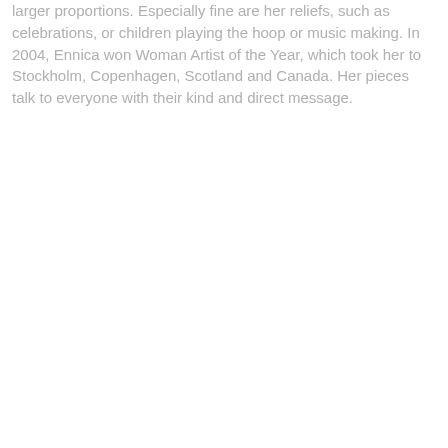larger proportions. Especially fine are her reliefs, such as celebrations, or children playing the hoop or music making. In 2004, Ennica won Woman Artist of the Year, which took her to Stockholm, Copenhagen, Scotland and Canada. Her pieces talk to everyone with their kind and direct message.